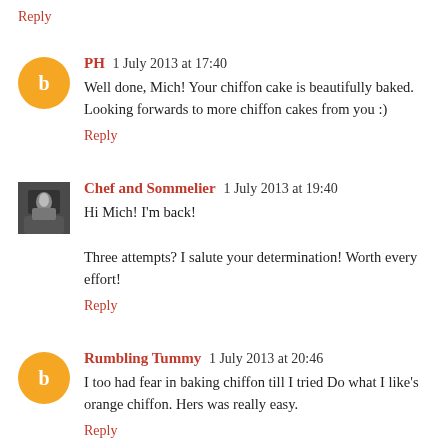Reply
PH  1 July 2013 at 17:40
Well done, Mich! Your chiffon cake is beautifully baked. Looking forwards to more chiffon cakes from you :)
Reply
Chef and Sommelier  1 July 2013 at 19:40
Hi Mich! I'm back!
Three attempts? I salute your determination! Worth every effort!
Reply
Rumbling Tummy  1 July 2013 at 20:46
I too had fear in baking chiffon till I tried Do what I like's orange chiffon. Hers was really easy.
Reply